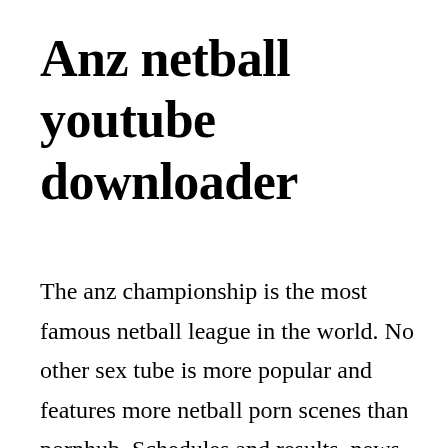Anz netball youtube downloader
The anz championship is the most famous netball league in the world. No other sex tube is more popular and features more netball porn scenes than pornhub. Schedules and results, news and comprehensive stats for new zealands premier netball tournament. Anz netball championship is a tv show on